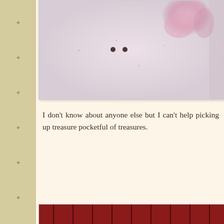[Figure (photo): Close-up photo of pink flowers against a light speckled background, partially visible at top of page]
I don't know about anyone else but I can't help picking up treasures pocketful of treasures.
[Figure (photo): Photo of a golden-colored dog resting on a floral pillow in front of dark red wooden chair slats]